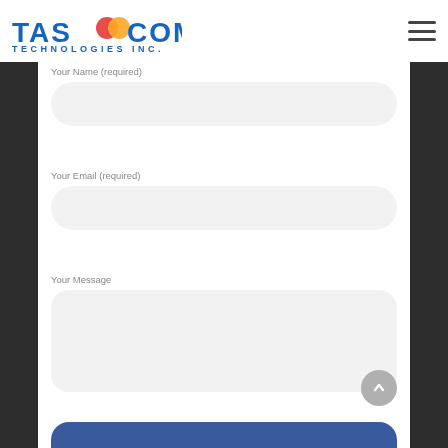[Figure (logo): Tasacom Technologies Inc. logo with blue text and Mastercard-style icon]
Your Name (required)
Your Email (required)
Your Message